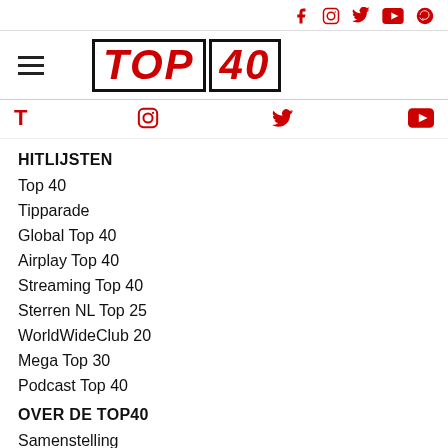Social icons: Facebook, Instagram, Twitter, YouTube, Spotify
[Figure (logo): Top 40 logo in red italic bold text with black border, with hamburger menu icon to the left]
Partial social icons: T (Facebook), Instagram, Twitter, YouTube
HITLIJSTEN
Top 40
Tipparade
Global Top 40
Airplay Top 40
Streaming Top 40
Sterren NL Top 25
WorldWideClub 20
Mega Top 30
Podcast Top 40
OVER DE TOP40
Samenstelling